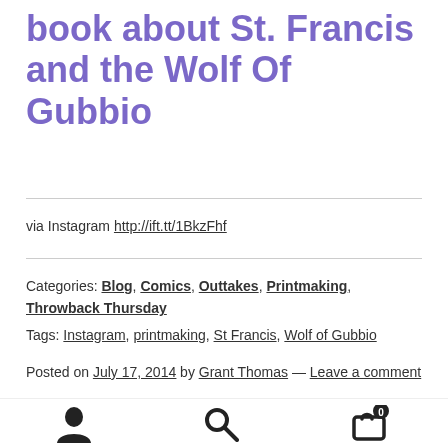book about St. Francis and the Wolf Of Gubbio
via Instagram http://ift.tt/1BkzFhf
Categories: Blog, Comics, Outtakes, Printmaking, Throwback Thursday
Tags: Instagram, printmaking, St Francis, Wolf of Gubbio
Posted on July 17, 2014 by Grant Thomas — Leave a comment
[Figure (infographic): Footer navigation bar with user icon, search icon, and shopping cart icon with badge showing 0]